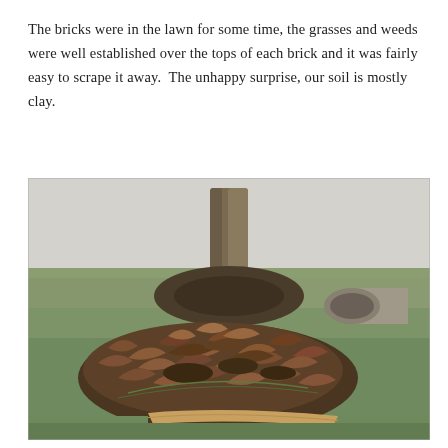The bricks were in the lawn for some time, the grasses and weeds were well established over the tops of each brick and it was fairly easy to scrape it away.  The unhappy surprise, our soil is mostly clay.
[Figure (photo): Outdoor photograph showing a garden area with a large pile of brown dead leaves arranged in a roughly rectangular mound on a green lawn. In the background is a tree trunk with dark soil around its base, a white wall or structure, and a cylindrical concrete pipe on the right side.]